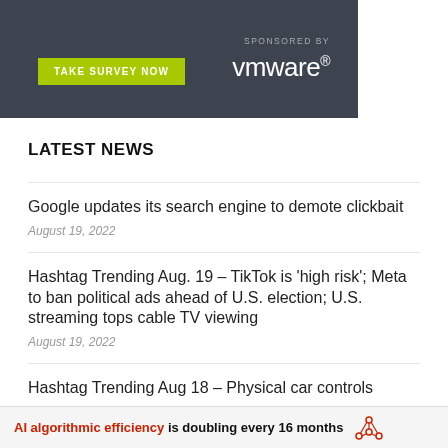[Figure (other): Advertisement banner with dark gray background. Shows 'SPONSORED BY' text and VMware logo on the right. Green button on the left reading 'TAKE SURVEY NOW'.]
LATEST NEWS
Google updates its search engine to demote clickbait
August 19, 2022
Hashtag Trending Aug. 19 – TikTok is 'high risk'; Meta to ban political ads ahead of U.S. election; U.S. streaming tops cable TV viewing
August 19, 2022
Hashtag Trending Aug 18 – Physical car controls
AI algorithmic efficiency is doubling every 16 months